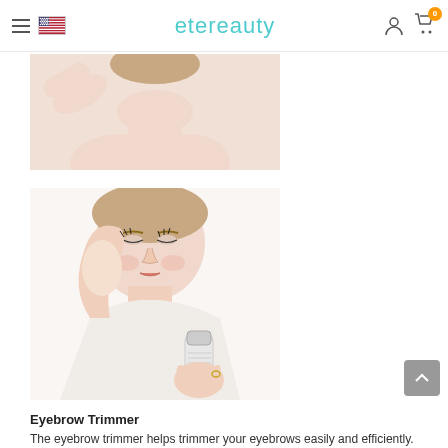etereauty
[Figure (photo): Partial view of a woman raising her arm, cropped at top of page]
[Figure (photo): Woman using a hair trimmer on her underarm area, product in hand]
Eyebrow Trimmer
The eyebrow trimmer helps trimmer your eyebrows easily and efficiently. Follow the skin closely when using it.